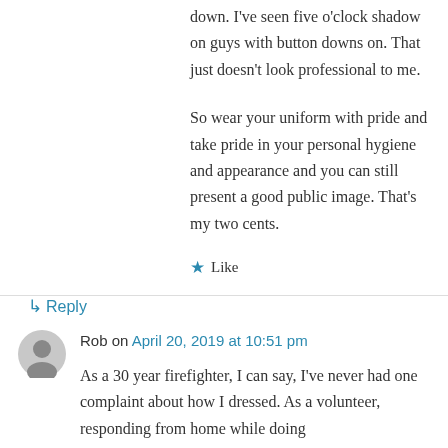down. I've seen five o'clock shadow on guys with button downs on. That just doesn't look professional to me.
So wear your uniform with pride and take pride in your personal hygiene and appearance and you can still present a good public image. That's my two cents.
★ Like
↳ Reply
Rob on April 20, 2019 at 10:51 pm
As a 30 year firefighter, I can say, I've never had one complaint about how I dressed. As a volunteer, responding from home while doing